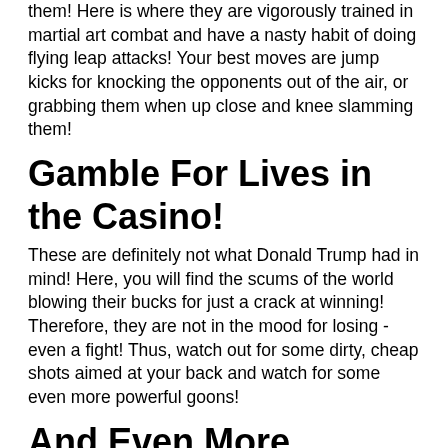them! Here is where they are vigorously trained in martial art combat and have a nasty habit of doing flying leap attacks! Your best moves are jump kicks for knocking the opponents out of the air, or grabbing them when up close and knee slamming them!
Gamble For Lives in the Casino!
These are definitely not what Donald Trump had in mind! Here, you will find the scums of the world blowing their bucks for just a crack at winning! Therefore, they are not in the mood for losing - even a fight! Thus, watch out for some dirty, cheap shots aimed at your back and watch for some even more powerful goons!
And Even More Levels!
There are plenty of levels throughout this game that will test your every ability as a martial arts expert! In some cases, you will start brawling in the factories where many different technical terrors reside, or even dueling on the runway of a huge airport! As you progress, more